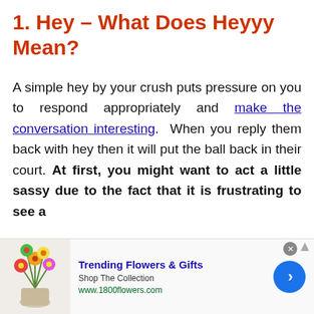1. Hey – What Does Heyyy Mean?
A simple hey by your crush puts pressure on you to respond appropriately and make the conversation interesting.  When you reply them back with hey then it will put the ball back in their court. At first, you might want to act a little sassy due to the fact that it is frustrating to see a
[Figure (other): Advertisement banner: Trending Flowers & Gifts - Shop The Collection - www.1800flowers.com, with flower image on the left and a blue arrow button on the right]